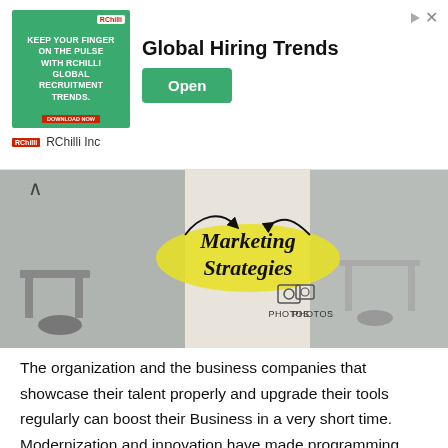[Figure (infographic): Advertisement banner for RChilli Inc showing Global Hiring Trends with green image box, Open button, and RChilli logo]
[Figure (illustration): Marketing Strategies banner image showing office environment with text 'Marketing Strategies', PHOTOS icon and VIDEO icon]
The organization and the business companies that showcase their talent properly and upgrade their tools regularly can boost their Business in a very short time. Modernization and innovation have made programming through with many tough tasks easy to do.
Just like this technology has made the Business very easy so that you can grow it rapidly in a very short period. There are many eye-catching social media sites that a business